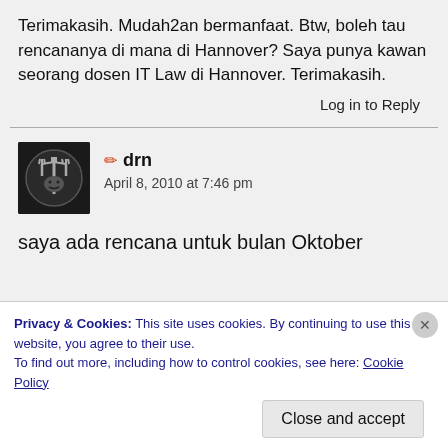Terimakasih. Mudah2an bermanfaat. Btw, boleh tau rencananya di mana di Hannover? Saya punya kawan seorang dosen IT Law di Hannover. Terimakasih.
Log in to Reply
drn — April 8, 2010 at 7:46 pm
saya ada rencana untuk bulan Oktober
Privacy & Cookies: This site uses cookies. By continuing to use this website, you agree to their use. To find out more, including how to control cookies, see here: Cookie Policy
Close and accept